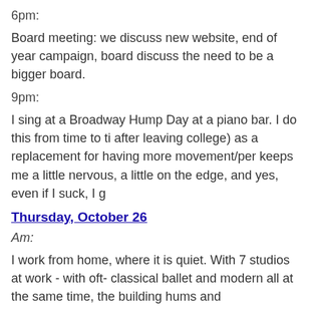6pm:
Board meeting: we discuss new website, end of year campaign, board discuss the need to be a bigger board.
9pm:
I sing at a Broadway Hump Day at a piano bar. I do this from time to ti after leaving college) as a replacement for having more movement/pe keeps me a little nervous, a little on the edge, and yes, even if I suck, I g
Thursday, October 26
Am:
I work from home, where it is quiet. With 7 studios at work - with oft- classical ballet and modern all at the same time, the building hums and
I run errands. Get my haircut. Try to squeeze in a meeting with my liai company is in residence. She has to cancel, and I use the moment to ju
Do emails.
Afternoon:
Finish some graphics for upcoming shows